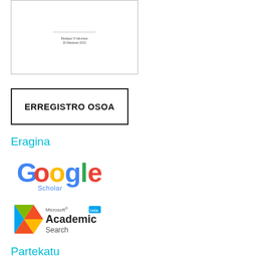[Figure (screenshot): Thumbnail of a document page with small text lines centered]
ERREGISTRO OSOA
Eragina
[Figure (logo): Google Scholar logo]
[Figure (logo): Microsoft Academic Search logo]
Partekatu
Gorde erreferentzia
[Figure (logo): Mendeley logo]